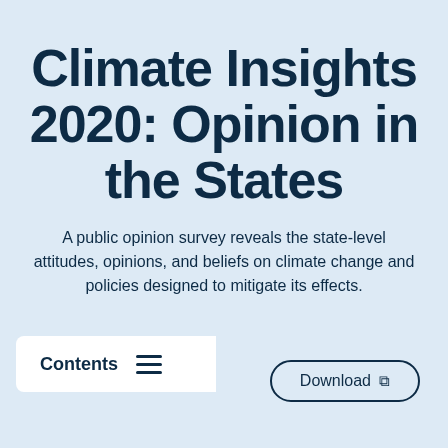Climate Insights 2020: Opinion in the States
A public opinion survey reveals the state-level attitudes, opinions, and beliefs on climate change and policies designed to mitigate its effects.
Contents
Download